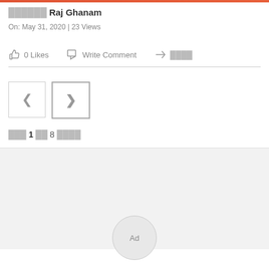██████ Raj Ghanam
On: May 31, 2020 | 23 Views
0 Likes   Write Comment   ████
███ 1 ██ 8 ████